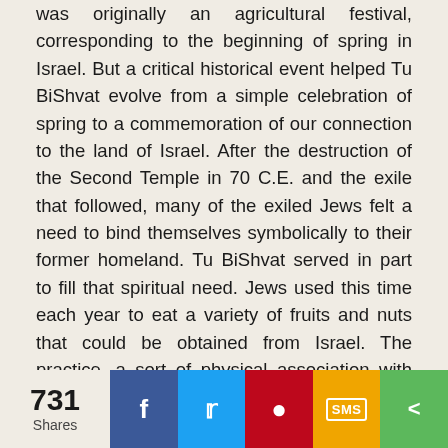was originally an agricultural festival, corresponding to the beginning of spring in Israel. But a critical historical event helped Tu BiShvat evolve from a simple celebration of spring to a commemoration of our connection to the land of Israel. After the destruction of the Second Temple in 70 C.E. and the exile that followed, many of the exiled Jews felt a need to bind themselves symbolically to their former homeland. Tu BiShvat served in part to fill that spiritual need. Jews used this time each year to eat a variety of fruits and nuts that could be obtained from Israel. The practice, a sort of physical association with the land, continued for many centuries.I for both Israelis and Jews throughout the world
[Figure (photo): Partial view of a photograph, likely showing trees or nature scene related to Tu BiShvat]
731 Shares